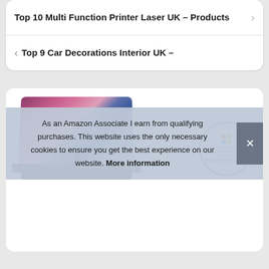Top 10 Multi Function Printer Laser UK – Products
Top 9 Car Decorations Interior UK –
[Figure (photo): Laptop product image showing a dark laptop with colorful sunset/mountain wallpaper on screen, alongside a Microsoft 365 circular badge stating 'Includes a 12-Month subscription of Microsoft 365 Personal']
As an Amazon Associate I earn from qualifying purchases. This website uses the only necessary cookies to ensure you get the best experience on our website. More information